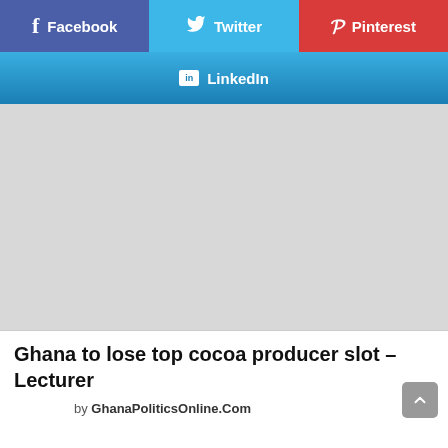[Figure (screenshot): Social media share buttons row: Facebook (purple), Twitter (blue), Pinterest (red)]
[Figure (screenshot): LinkedIn share button (gradient blue, full width)]
[Figure (screenshot): Gray placeholder image area]
Ghana to lose top cocoa producer slot – Lecturer
by GhanaPoliticsOnline.Com